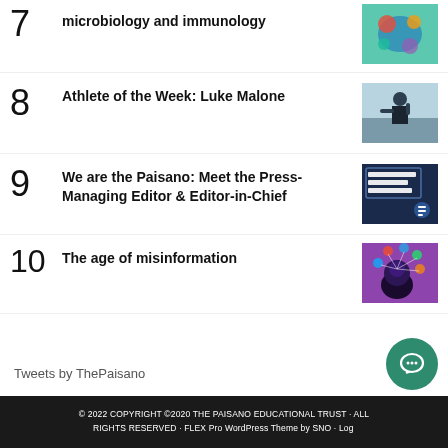7 microbiology and immunology
8 Athlete of the Week: Luke Malone
9 We are the Paisano: Meet the Press- Managing Editor & Editor-in-Chief
10 The age of misinformation
Tweets by ThePaisano
© 2022 COPYRIGHT ©2020 THE PAISANO EDUCATIONAL TRUST · ALL RIGHTS RESERVED · FLEX Pro WordPress Theme by SNO · Log in